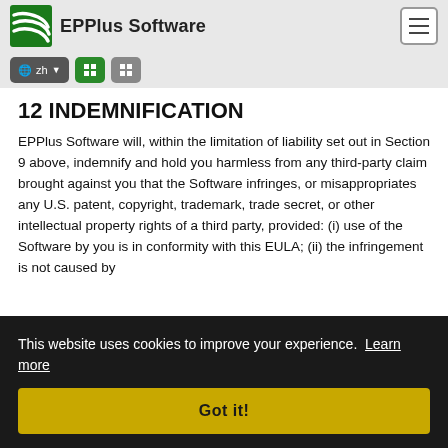EPPlus Software
12 INDEMNIFICATION
EPPlus Software will, within the limitation of liability set out in Section 9 above, indemnify and hold you harmless from any third-party claim brought against you that the Software infringes, or misappropriates any U.S. patent, copyright, trademark, trade secret, or other intellectual property rights of a third party, provided: (i) use of the Software by you is in conformity with this EULA; (ii) the infringement is not caused by ... (iii) providing EPPlus Software with reasonable assistance, information and authority required for the defense and
This website uses cookies to improve your experience. Learn more
Got it!